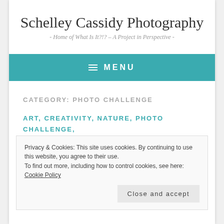Schelley Cassidy Photography
- Home of What Is It?!? – A Project in Perspective -
≡ MENU
CATEGORY: PHOTO CHALLENGE
ART, CREATIVITY, NATURE, PHOTO CHALLENGE, PHOTOGRAPHS, PHOTOGRAPHY,
Privacy & Cookies: This site uses cookies. By continuing to use this website, you agree to their use.
To find out more, including how to control cookies, see here: Cookie Policy
Close and accept